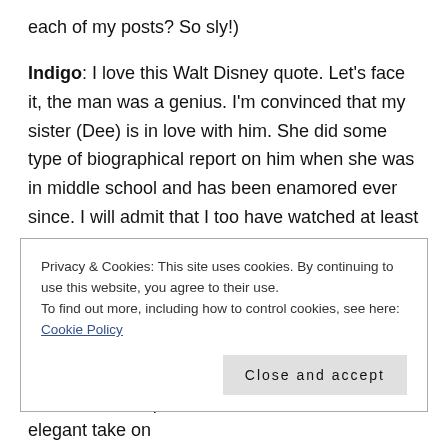each of my posts? So sly!)
Indigo: I love this Walt Disney quote. Let’s face it, the man was a genius. I’m convinced that my sister (Dee) is in love with him. She did some type of biographical report on him when she was in middle school and has been enamored ever since. I will admit that I too have watched at least 3 film biographies on the man. And no, I do not believe that he is frozen somewhere.
Violet: Disneyland is the only place that adults are
Privacy & Cookies: This site uses cookies. By continuing to use this website, you agree to their use.
To find out more, including how to control cookies, see here: Cookie Policy
Close and accept
Wonderland inspired hat/fastener is a more elegant take on